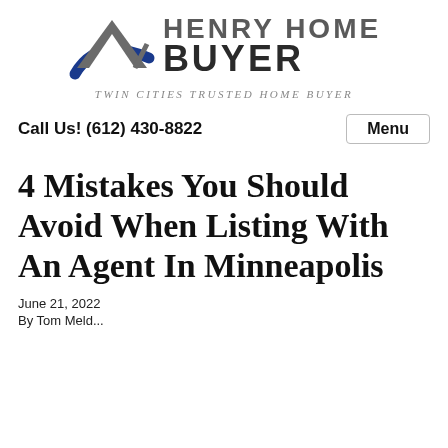[Figure (logo): Henry Home Buyer logo with house/roof SVG graphic and tagline 'Twin Cities Trusted Home Buyer']
Call Us! (612) 430-8822
Menu
4 Mistakes You Should Avoid When Listing With An Agent In Minneapolis
June 21, 2022
By Tom Meld...